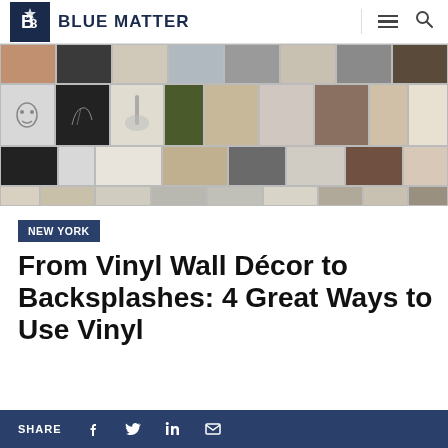BLUE MATTER
[Figure (photo): Mosaic grid of interior design photos showing vinyl wall decor, wall stickers, silhouettes, trees, birds, and room decoration patterns in various styles and color schemes.]
NEW YORK
From Vinyl Wall Décor to Backsplashes: 4 Great Ways to Use Vinyl
SHARE